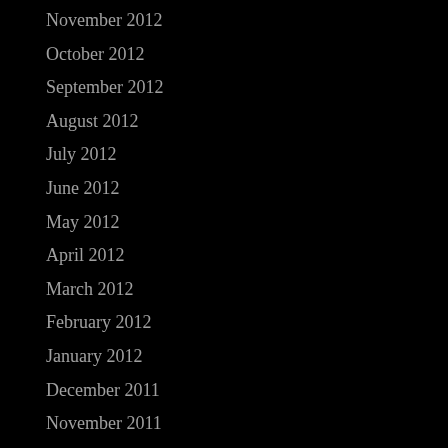November 2012
October 2012
September 2012
August 2012
July 2012
June 2012
May 2012
April 2012
March 2012
February 2012
January 2012
December 2011
November 2011
October 2011